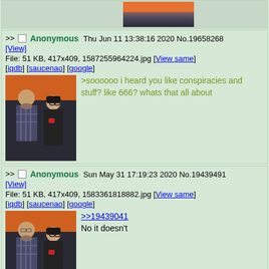[Figure (photo): Top partial photo of two people (man in plaid shirt and woman) cropped at top of page]
>> Anonymous Thu Jun 11 13:38:16 2020 No.19658268 [View]
File: 51 KB, 417x409, 1587255964224.jpg [View same] [iqdb] [saucenao] [google]
[Figure (photo): Photo of bearded man in plaid shirt and woman with glasses smiling]
>soooooo i heard you like conspiracies and stuff? like 666? whats that all about
>> Anonymous Sun May 31 17:19:23 2020 No.19439491 [View]
File: 51 KB, 417x409, 1583361818882.jpg [View same] [iqdb] [saucenao] [google]
[Figure (photo): Same photo of bearded man and woman with glasses]
>>19439041
No it doesn't